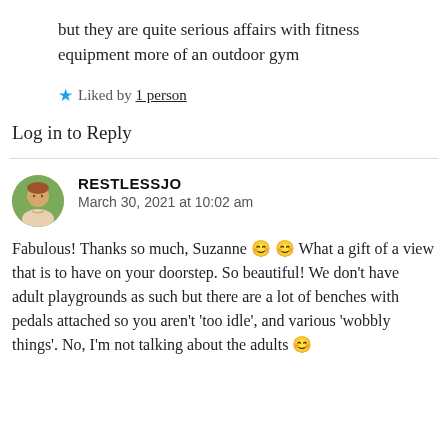but they are quite serious affairs with fitness equipment more of an outdoor gym
★ Liked by 1 person
Log in to Reply
RESTLESSJO
March 30, 2021 at 10:02 am
Fabulous! Thanks so much, Suzanne 🙂 🙂 What a gift of a view that is to have on your doorstep. So beautiful! We don't have adult playgrounds as such but there are a lot of benches with pedals attached so you aren't 'too idle', and various 'wobbly things'. No, I'm not talking about the adults 🙂